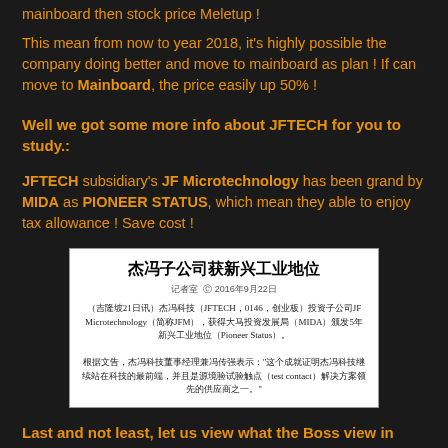mainboard then stock price Meletup !
This mean from now to year 2018, it's highly possible the company doing better and move to mainboard as plan ! If can move to Mainboard, the price easily up 50% !
Well we got some more info about JFTECH for you to study.:
JFTECH subsidiary's JF Microtechnology has been grand by MIDA as PIONEER STATUS, which mean they able to enjoy tax allowance ! Save cost !
[Figure (screenshot): News clipping in Chinese: 杰冯子公司获新兴工业地位 - Article about JF Microtechnology (JFTECH, 0146) receiving Pioneer Status from MIDA (Malaysia Investment Development Authority) for 5 years.]
Last and not least, let us view what the Boss view in coming years: